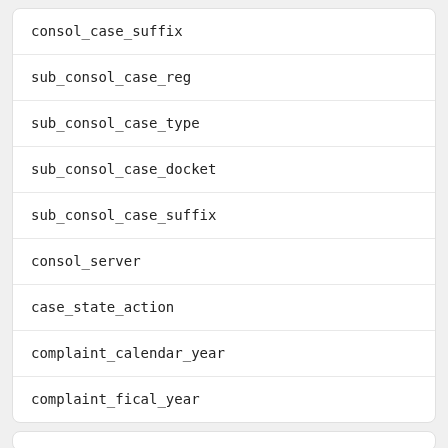consol_case_suffix
sub_consol_case_reg
sub_consol_case_type
sub_consol_case_docket
sub_consol_case_suffix
consol_server
case_state_action
complaint_calendar_year
complaint_fical_year